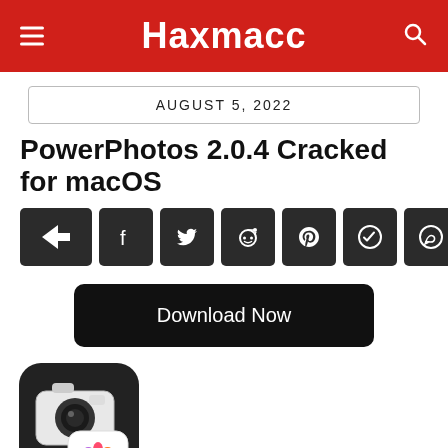Haxmacc
AUGUST 5, 2022
PowerPhotos 2.0.4 Cracked for macOS
[Figure (screenshot): Social share button row: share, Facebook, Twitter, Reddit, Pinterest, Telegram, WhatsApp icons on dark rounded buttons]
[Figure (screenshot): Black rounded rectangle Download Now button]
[Figure (illustration): PowerPhotos app icon - dark rounded square with a camera and photos app icon overlay]